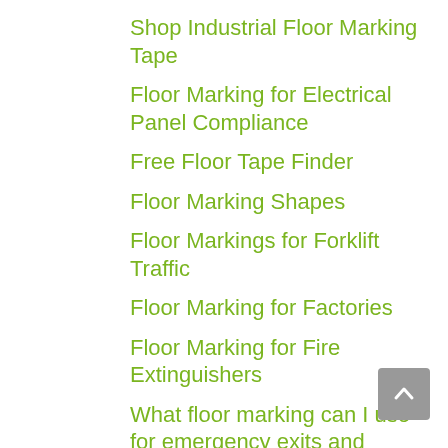Shop Industrial Floor Marking Tape
Floor Marking for Electrical Panel Compliance
Free Floor Tape Finder
Floor Marking Shapes
Floor Markings for Forklift Traffic
Floor Marking for Factories
Floor Marking for Fire Extinguishers
What floor marking can I use for emergency exits and evacuation routes?
Floor Marking for Door Opening
Floor Marking for Facility Safety
Floor Marking for Social Distancing
Where can I use floor marking for social